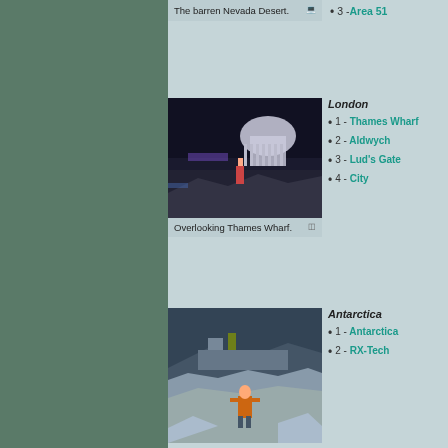The barren Nevada Desert.
3 - Area 51
[Figure (screenshot): Game screenshot showing a night scene overlooking Thames Wharf with a large domed building (St Paul's Cathedral) in the background]
Overlooking Thames Wharf.
London
1 - Thames Wharf
2 - Aldwych
3 - Lud's Gate
4 - City
[Figure (screenshot): Game screenshot showing an Antarctic scene with a character in an orange jacket standing on ice near a large ship]
Antarctica
1 - Antarctica
2 - RX-Tech